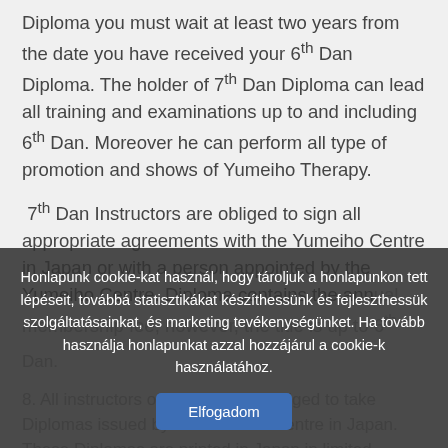Diploma you must wait at least two years from the date you have received your 6th Dan Diploma. The holder of 7th Dan Diploma can lead all training and examinations up to and including 6th Dan. Moreover he can perform all type of promotion and shows of Yumeiho Therapy.
7th Dan Instructors are obliged to sign all appropriate agreements with the Yumeiho Centre in Japan or with a person appointed by the Yumeiho Centre. Diploma contains the annual membership fee, however, the title is up to 6th Dan.
8. All instructors of Yumeiho are obliged to take Diplomas issued by the Yumeiho Centre in Japan. These Diplomas are printed in Japan in limited amount. The new Diplomas contain the signature and Toshiharu Kitami Master and director of the Yumeiho Centre in Japan. Former
Honlapunk cookie-kat használ, hogy tároljuk a honlapunkon tett lépéseit, továbbá statisztikákat készíthessünk és fejleszthessük szolgáltatásainkat, és marketing tevékenységünket. Ha tovább használja honlapunkat azzal hozzájárul a cookie-k használatához.